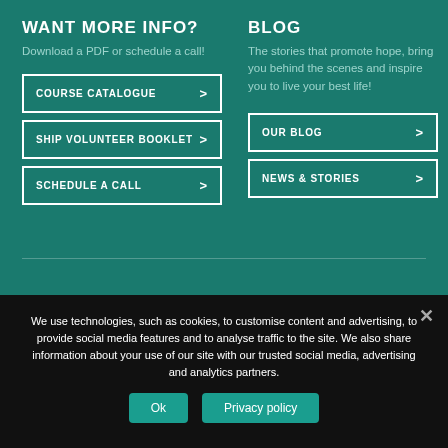WANT MORE INFO?
Download a PDF or schedule a call!
COURSE CATALOGUE
SHIP VOLUNTEER BOOKLET
SCHEDULE A CALL
BLOG
The stories that promote hope, bring you behind the scenes and inspire you to live your best life!
OUR BLOG
NEWS & STORIES
We use technologies, such as cookies, to customise content and advertising, to provide social media features and to analyse traffic to the site. We also share information about your use of our site with our trusted social media, advertising and analytics partners.
Ok
Privacy policy